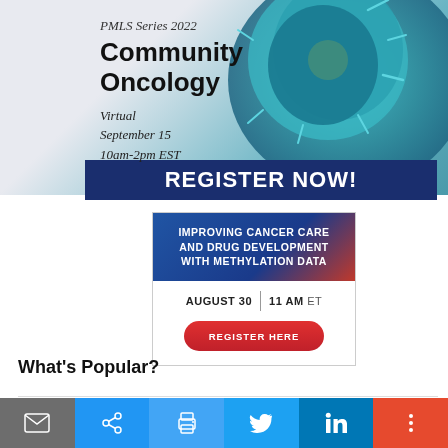[Figure (infographic): PMLS Series 2022 Community Oncology event banner with cell/virus image, Virtual September 15 10am-2pm EST, with REGISTER NOW button]
[Figure (infographic): Improving Cancer Care and Drug Development with Methylation Data webinar ad, August 30, 11 AM ET, Register Here button]
What's Popular?
[Figure (infographic): Social sharing bar with email, share, print, Twitter, LinkedIn, and more buttons]